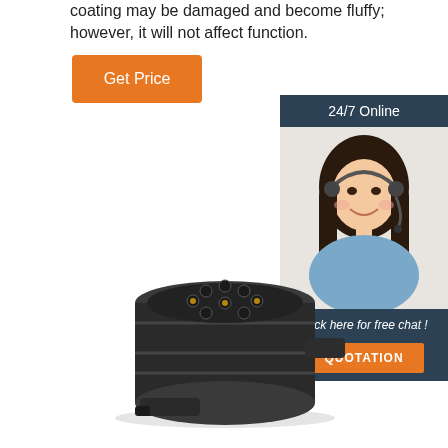coating may be damaged and become fluffy; however, it will not affect function.
Get Price
[Figure (photo): Customer service representative smiling with headset, with '24/7 Online' header and 'Click here for free chat!' text and QUOTATION button]
[Figure (photo): Black cylindrical electrical connector adapter with multiple pin holes and mounting bracket]